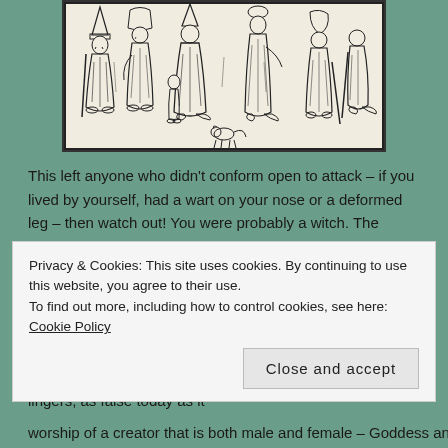[Figure (illustration): A woodcut-style black and white illustration showing a group of figures in medieval/early modern dress, some with walking sticks, including what appears to be a small animal (cat or dog) at their feet.]
This left anyone who didn't conform open to attack – if you lived by yourself, had a wart on your nose or a deformed leg – then watch out! You were probably a witch. The majority of those arrested, tortured, tried, condemned and murdered were not witches; real witches had taken their religion underground.
Of course real witches are nothing like those pointy-nosed, warty child-cookers of Hansel and Gretel fame and seemingly endless Disney adaptations. But the stereotype lingers, as false today as it
Privacy & Cookies: This site uses cookies. By continuing to use this website, you agree to their use.
To find out more, including how to control cookies, see here: Cookie Policy
worship of a creator that is both male and female – Goddess and